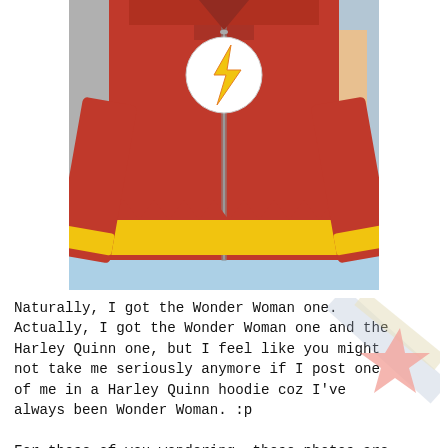[Figure (photo): A red Flash superhero zip-up hoodie/jacket displayed on a person. The jacket features the Flash lightning bolt logo on the chest in white and yellow, yellow flame-pattern trim along the bottom hem and sleeves, and a center zipper. Store items visible in the background.]
Naturally, I got the Wonder Woman one. Actually, I got the Wonder Woman one and the Harley Quinn one, but I feel like you might not take me seriously anymore if I post one of me in a Harley Quinn hoodie coz I've always been Wonder Woman. :p

For those of you wondering, these photos are